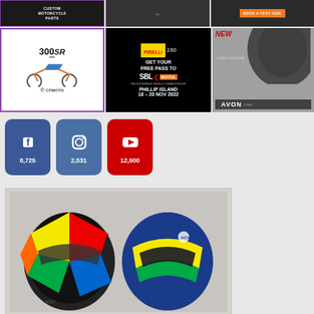[Figure (infographic): Top row: Three advertisement banners - Custom Motorcycle Parts (purple border, dark bg), Motorcycle photo (dark), Book a Test Ride orange button]
[Figure (infographic): Middle row: CFMoto 300SR RR motorcycle ad with purple border, Pirelli 150 years SBK free pass Phillip Island 18-20 Nov 2022 ad, Avon Tyres Cobra Chrome NEW tire ad]
[Figure (infographic): Social media follower counts: Facebook 8,725 | Instagram 2,531 | YouTube 12,900]
[Figure (photo): Two AGV motorcycle helmets displayed side by side - one with colorful geometric design and one with blue/yellow racing design]